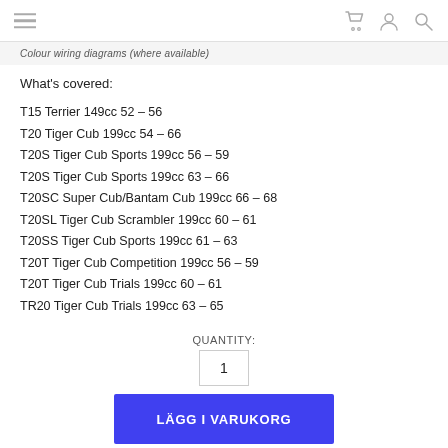[hamburger menu icon] [cart icon] [user icon] [search icon]
Colour wiring diagrams (where available)
What's covered:
T15 Terrier 149cc 52 – 56
T20 Tiger Cub 199cc 54 – 66
T20S Tiger Cub Sports 199cc 56 – 59
T20S Tiger Cub Sports 199cc 63 – 66
T20SC Super Cub/Bantam Cub 199cc 66 – 68
T20SL Tiger Cub Scrambler 199cc 60 – 61
T20SS Tiger Cub Sports 199cc 61 – 63
T20T Tiger Cub Competition 199cc 56 – 59
T20T Tiger Cub Trials 199cc 60 – 61
TR20 Tiger Cub Trials 199cc 63 – 65
QUANTITY: 1
LÄGG I VARUKORG